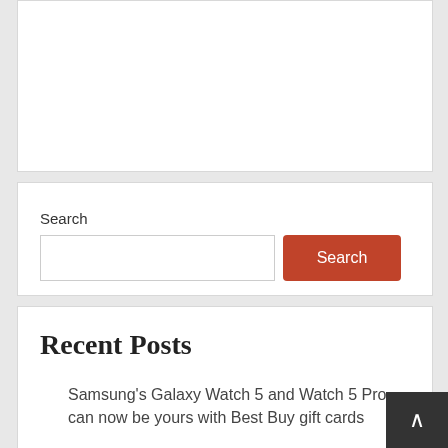[Figure (other): White content card, partially visible at top of page (content cut off)]
Search
[Figure (other): Search input box with red Search button]
Recent Posts
Samsung's Galaxy Watch 5 and Watch 5 Pro can now be yours with Best Buy gift cards